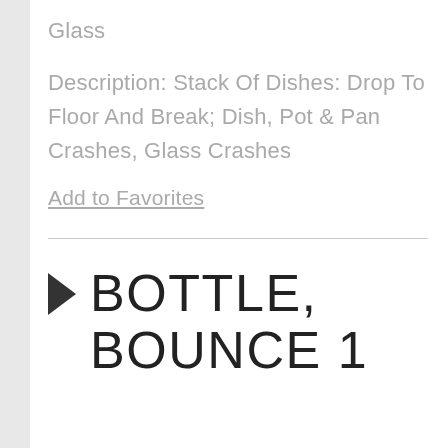Glass
Description: Stack Of Dishes: Drop To Floor And Break; Dish, Pot & Pan Crashes, Glass Crashes
Add to Favorites
BOTTLE, BOUNCE 1